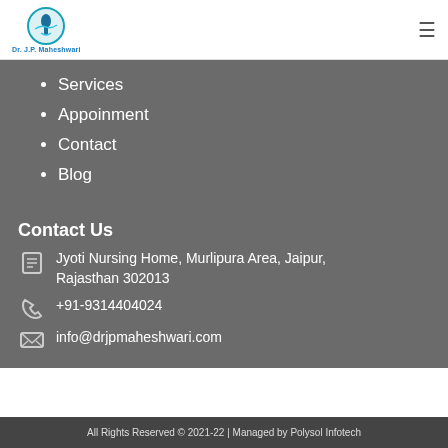[Figure (logo): Dr. J.P. Maheshwari logo with circular icon of spine/body and teal/green color scheme]
Services
Appoinment
Contact
Blog
Contact Us
Jyoti Nursing Home, Murlipura Area, Jaipur, Rajasthan 302013
+91-9314404024
info@drjpmaheshwari.com
All Rights Reserved © 2021-22 | Managed by Polysol Infotech